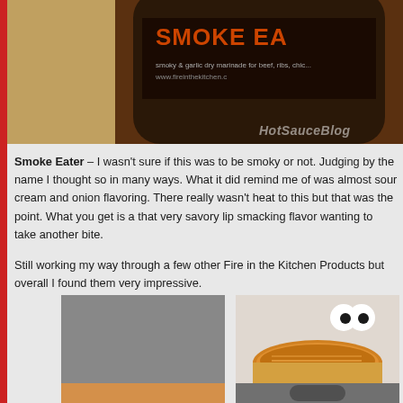[Figure (photo): Top portion of a Smoke Eater product jar/bottle with dark label, partially cropped. HotSauceBlog watermark visible.]
Smoke Eater – I wasn't sure if this was to be smoky or not. Judging by the name I thought so in many ways. What it did remind me of was almost sour cream and onion flavoring. There really wasn't heat to this but that was the point. What you get is a that very savory lip smacking flavor wanting to take another bite.
Still working my way through a few other Fire in the Kitchen Products but overall I found them very impressive.
[Figure (photo): Photo of Smoke Eater product open jar with creamy contents and black label. HotSauceBlog watermark.]
[Figure (photo): Photo of Balara product open jar with orange/golden contents. HotSauceBlog watermark.]